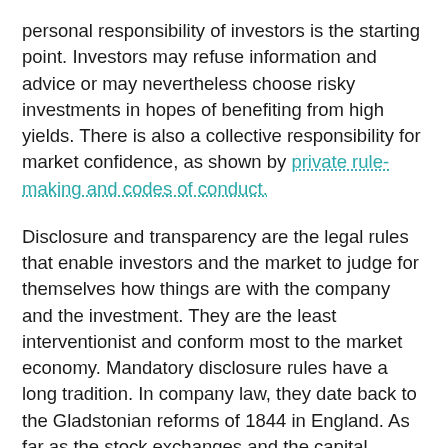personal responsibility of investors is the starting point. Investors may refuse information and advice or may nevertheless choose risky investments in hopes of benefiting from high yields. There is also a collective responsibility for market confidence, as shown by private rule-making and codes of conduct.
Disclosure and transparency are the legal rules that enable investors and the market to judge for themselves how things are with the company and the investment. They are the least interventionist and conform most to the market economy. Mandatory disclosure rules have a long tradition. In company law, they date back to the Gladstonian reforms of 1844 in England. As far as the stock exchanges and the capital markets are concerned, the US securities regulations of the 1930s have been the model for all later capital markets laws and regulations in the world. Disclosure is only as good as it